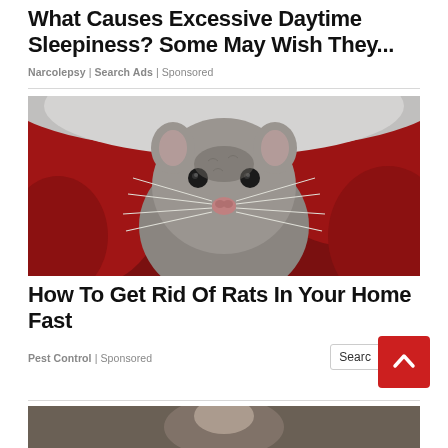What Causes Excessive Daytime Sleepiness? Some May Wish They...
Narcolepsy | Search Ads | Sponsored
[Figure (photo): Close-up photo of a grey rat peeking out from under red fabric, looking directly at the camera with whiskers visible.]
How To Get Rid Of Rats In Your Home Fast
Pest Control | Sponsored
[Figure (photo): Partially visible photo at the bottom of the page, cut off.]